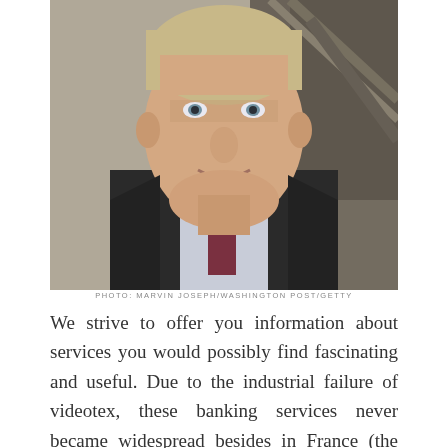[Figure (photo): Portrait photo of a middle-aged man with short blond hair, wearing a suit jacket and tie, smiling slightly, photographed indoors near stairs.]
PHOTO: MARVIN JOSEPH/WASHINGTON POST/GETTY
We strive to offer you information about services you would possibly find fascinating and useful. Due to the industrial failure of videotex, these banking services never became widespread besides in France (the place using videotex ( Minitel ) was subsidized by the telecom provider) and the UK, where the Prestel system was used. Others only make their instruments and